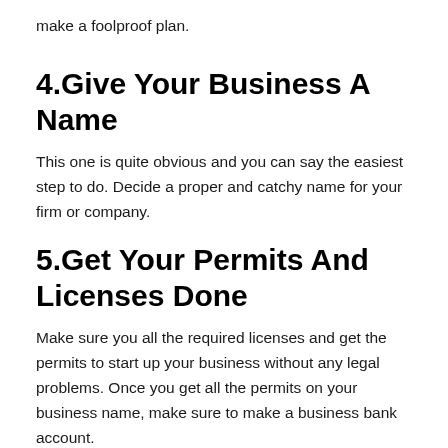make a foolproof plan.
4.Give Your Business A Name
This one is quite obvious and you can say the easiest step to do. Decide a proper and catchy name for your firm or company.
5.Get Your Permits And Licenses Done
Make sure you all the required licenses and get the permits to start up your business without any legal problems. Once you get all the permits on your business name, make sure to make a business bank account.